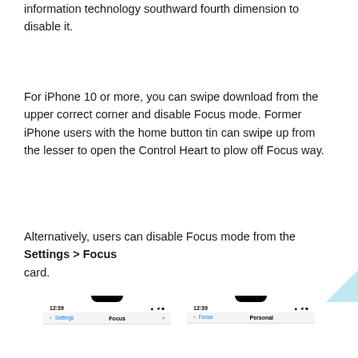information technology southward fourth dimension to disable it.
For iPhone 10 or more, you can swipe download from the upper correct corner and disable Focus mode. Former iPhone users with the home button tin can swipe up from the lesser to open the Control Heart to plow off Focus way.
Alternatively, users can disable Focus mode from the Settings > Focus card.
[Figure (screenshot): Two iPhone screenshots showing Focus settings screens: left shows 'Focus' settings page with a '+' button, right shows 'Personal' focus mode page. Both show time 12:39 in the status bar.]